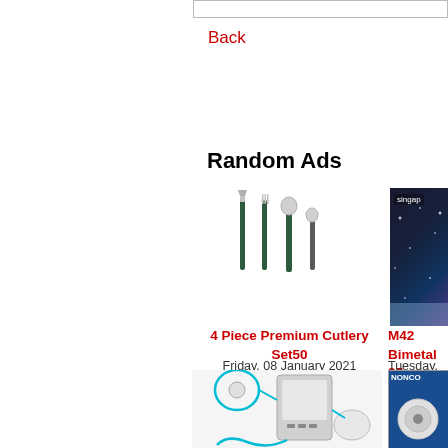Back
Random Ads
[Figure (photo): 4 piece premium cutlery set with dark green handles — knife, fork, large spoon, small spoon]
4 Piece Premium Cutlery Set50
Friday, 08 January 2021
[Figure (photo): Partial image of Singapore nighttime cityscape with text 'singap' visible]
M42 Bimetal 27
Tuesday, 1
[Figure (photo): Hydrogen water machine or oxygen concentrator device with tubing]
[Figure (photo): NONCO branded product image partial view]